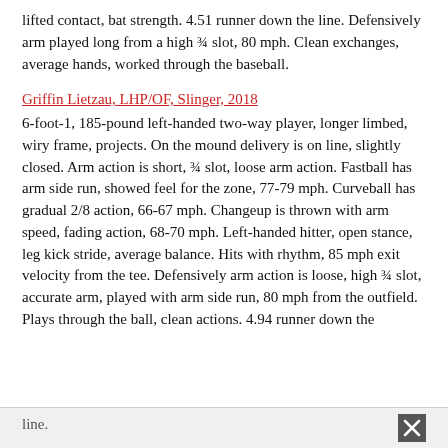lifted contact, bat strength. 4.51 runner down the line. Defensively arm played long from a high ¾ slot, 80 mph. Clean exchanges, average hands, worked through the baseball.
Griffin Lietzau, LHP/OF, Slinger, 2018
6-foot-1, 185-pound left-handed two-way player, longer limbed, wiry frame, projects. On the mound delivery is on line, slightly closed. Arm action is short, ¾ slot, loose arm action. Fastball has arm side run, showed feel for the zone, 77-79 mph. Curveball has gradual 2/8 action, 66-67 mph. Changeup is thrown with arm speed, fading action, 68-70 mph. Left-handed hitter, open stance, leg kick stride, average balance. Hits with rhythm, 85 mph exit velocity from the tee. Defensively arm action is loose, high ¾ slot, accurate arm, played with arm side run, 80 mph from the outfield. Plays through the ball, clean actions. 4.94 runner down the
line.
Anthony Moore, OF, Sturgeon Bay, 2018